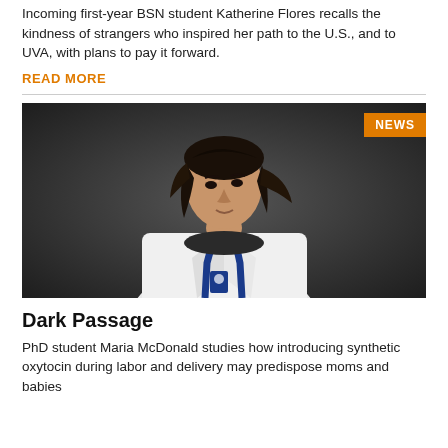Incoming first-year BSN student Katherine Flores recalls the kindness of strangers who inspired her path to the U.S., and to UVA, with plans to pay it forward.
READ MORE
[Figure (photo): Portrait of a young woman in a white lab coat with a blue lanyard, against a dark gray background. A NEWS badge appears in the upper right corner.]
Dark Passage
PhD student Maria McDonald studies how introducing synthetic oxytocin during labor and delivery may predispose moms and babies